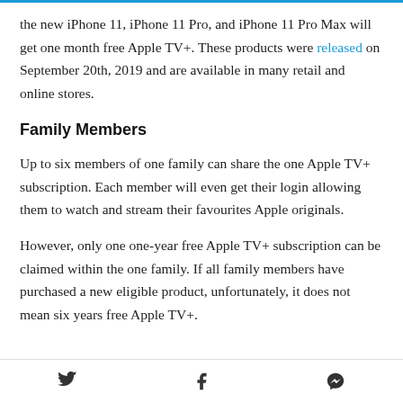the new iPhone 11, iPhone 11 Pro, and iPhone 11 Pro Max will get one month free Apple TV+. These products were released on September 20th, 2019 and are available in many retail and online stores.
Family Members
Up to six members of one family can share the one Apple TV+ subscription. Each member will even get their login allowing them to watch and stream their favourites Apple originals.
However, only one one-year free Apple TV+ subscription can be claimed within the one family. If all family members have purchased a new eligible product, unfortunately, it does not mean six years free Apple TV+.
Twitter | Facebook | Messenger